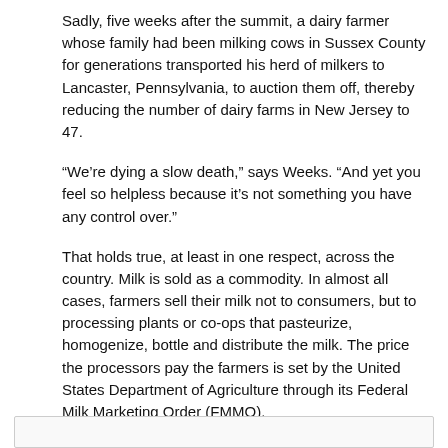Sadly, five weeks after the summit, a dairy farmer whose family had been milking cows in Sussex County for generations transported his herd of milkers to Lancaster, Pennsylvania, to auction them off, thereby reducing the number of dairy farms in New Jersey to 47.
“We’re dying a slow death,” says Weeks. “And yet you feel so helpless because it’s not something you have any control over.”
That holds true, at least in one respect, across the country. Milk is sold as a commodity. In almost all cases, farmers sell their milk not to consumers, but to processing plants or co-ops that pasteurize, homogenize, bottle and distribute the milk. The price the processors pay the farmers is set by the United States Department of Agriculture through its Federal Milk Marketing Order (FMMO).
The FMMO was established in the 1930s to support farmers facing low milk prices and to assure consumers an adequate supply of milk. Prior to the FMMO, processors controlled the prices.
The FMMO is calculated based on several factors, notably regional, national and international supply and demand.